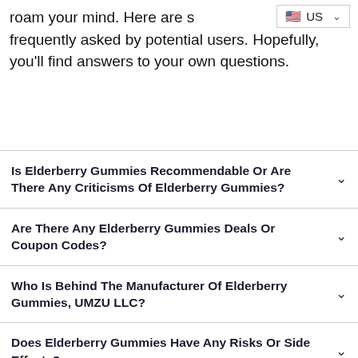roam your mind. Here are some questions frequently asked by potential users. Hopefully, you'll find answers to your own questions.
Is Elderberry Gummies Recommendable Or Are There Any Criticisms Of Elderberry Gummies?
Are There Any Elderberry Gummies Deals Or Coupon Codes?
Who Is Behind The Manufacturer Of Elderberry Gummies, UMZU LLC?
Does Elderberry Gummies Have Any Risks Or Side Effects?
Is The Continuous Use Of Elderberry Gummies Safe?
Can You Buy Elderberry Gummies On Ebay & Amazon?
Do I Need A Prescription To Buy Elderberry Gummies?